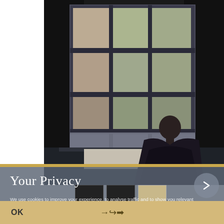[Figure (illustration): Painting of a person seated at a desk near a large multi-paned window, viewed from behind. The window has 12 panes arranged in a 3x4 grid, showing greenery outside. The room is dark with the figure in shadow.]
Your Privacy
We use cookies to improve your experience, to analyse traffic and to show you relevant Dreweatts advertising. Should you not accept the use of cookies but choose to continue using the website your consent is implied to the use of cookies that are used for data analytical purposes. Mo...